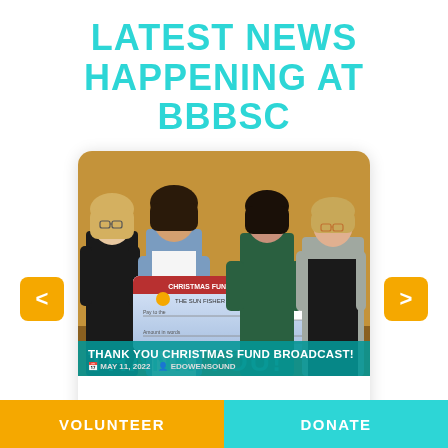LATEST NEWS HAPPENING AT BBBSC
[Figure (photo): Four women standing together holding a large CHRISTMAS FUND BROADCAST check, with an orange/tan background. Below the photo is an overlay reading THANK YOU CHRISTMAS FUND BROADCAST! with date MAY 11, 2022 and author EDOWENSOUND.]
THANK YOU CHRISTMAS FUND BROADCAST!
MAY 11, 2022   EDOWENSOUND
VOLUNTEER
DONATE